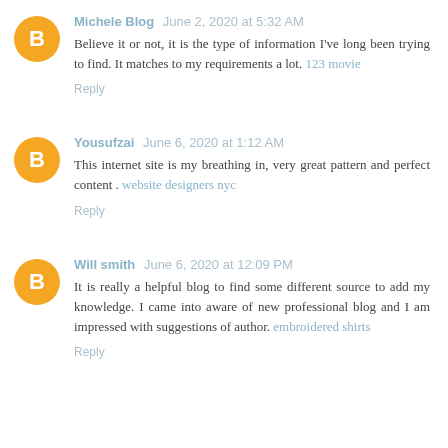Michele Blog  June 2, 2020 at 5:32 AM
Believe it or not, it is the type of information I've long been trying to find. It matches to my requirements a lot. 123 movie
Reply
Yousufzai  June 6, 2020 at 1:12 AM
This internet site is my breathing in, very great pattern and perfect content . website designers nyc
Reply
Will smith  June 6, 2020 at 12:09 PM
It is really a helpful blog to find some different source to add my knowledge. I came into aware of new professional blog and I am impressed with suggestions of author. embroidered shirts
Reply